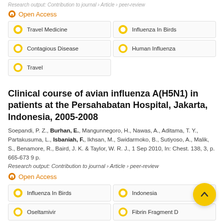Research output: Contribution to journal › Article › peer-review
Open Access
Travel Medicine
Influenza In Birds
Contagious Disease
Human Influenza
Travel
Clinical course of avian influenza A(H5N1) in patients at the Persahabatan Hospital, Jakarta, Indonesia, 2005-2008
Soepandi, P. Z., Burhan, E., Mangunnegoro, H., Nawas, A., Aditama, T. Y., Partakusuma, L., Isbaniah, F., Ikhsan, M., Swidarmoko, B., Sutiyoso, A., Malik, S., Benamore, R., Baird, J. K. & Taylor, W. R. J., 1 Sep 2010, In: Chest. 138, 3, p. 665-673 9 p.
Research output: Contribution to journal › Article › peer-review
Open Access
Influenza In Birds
Indonesia
Oseltamivir
Fibrin Fragment D